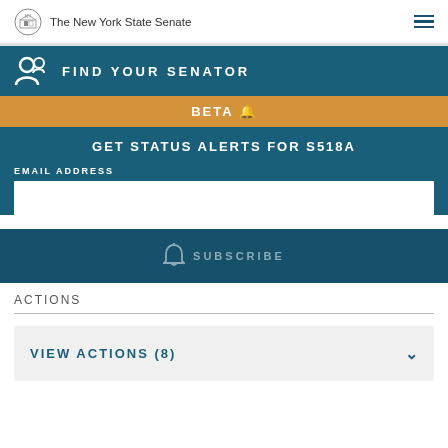The New York State Senate
FIND YOUR SENATOR
BETA 🔔
GET STATUS ALERTS FOR S518A
EMAIL ADDRESS
SUBSCRIBE
ACTIONS
VIEW ACTIONS (8)